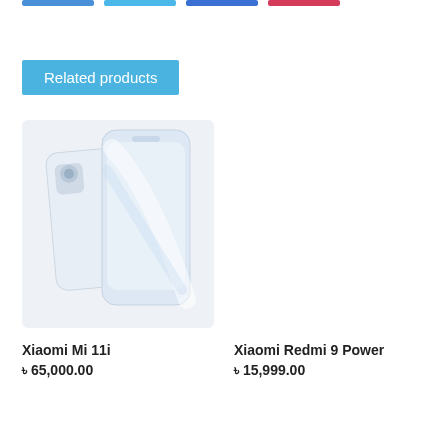Related products
[Figure (photo): Xiaomi Mi 11i smartphone shown from front and back in white/light blue color]
Xiaomi Mi 11i
৳ 65,000.00
Xiaomi Redmi 9 Power
৳ 15,999.00